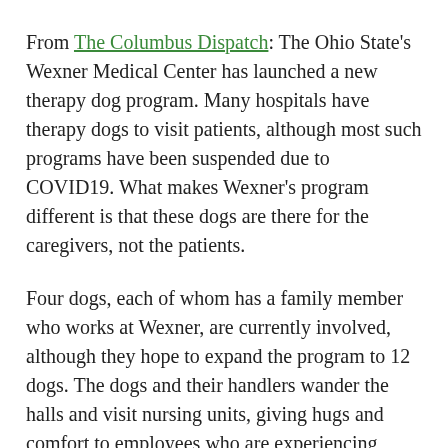From The Columbus Dispatch: The Ohio State's Wexner Medical Center has launched a new therapy dog program. Many hospitals have therapy dogs to visit patients, although most such programs have been suspended due to COVID19. What makes Wexner's program different is that these dogs are there for the caregivers, not the patients.
Four dogs, each of whom has a family member who works at Wexner, are currently involved, although they hope to expand the program to 12 dogs. The dogs and their handlers wander the halls and visit nursing units, giving hugs and comfort to employees who are experiencing unprecedented levels of stress due to the heavy workload associated with Corona on top of their normal duties.
If you're thinking you've heard of the program before, you may be right if you are on Twitter. The photo of Shiloh (above) was posted by Dr. Shari Dunaway in November with the caption